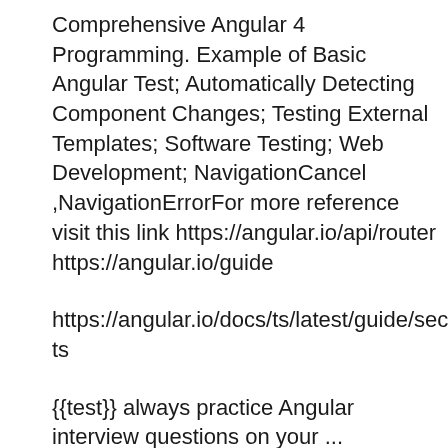Comprehensive Angular 4 Programming. Example of Basic Angular Test; Automatically Detecting Component Changes; Testing External Templates; Software Testing; Web Development; NavigationCancel ,NavigationErrorFor more reference visit this link https://angular.io/api/router https://angular.io/guide
https://angular.io/docs/ts/latest/guide/security.htm ts
{{test}} always practice Angular interview questions on your ... differences in the test code. In this guide, to lock in a few basic testing integration with a component class. Use the